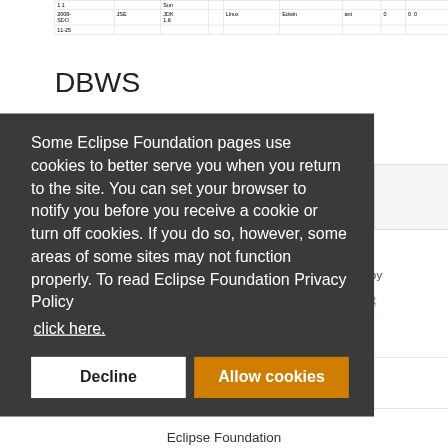| 1.1 |  | Sun |  |  |  |  |  |  |
| 2008-SDO | JSE | JDK |  | Linux | Edwin | ant | 0 | 0 | 0 |
| 11-25 |  | 1.6 |  |  |  |  |  |  |
DBWS
Some Eclipse Foundation pages use cookies to better serve you when you return to the site. You can set your browser to notify you before you receive a cookie or turn off cookies. If you do so, however, some areas of some sites may not function properly. To read Eclipse Foundation Privacy Policy
click here.
Decline
Allow cookies
Eclipse Foundation